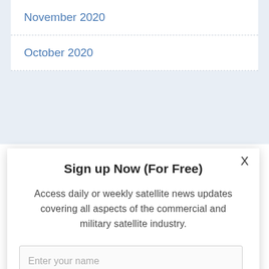November 2020
October 2020
Sign up Now (For Free)
Access daily or weekly satellite news updates covering all aspects of the commercial and military satellite industry.
Enter your name
Enter your email
Notify Me Regarding ( At least one ):